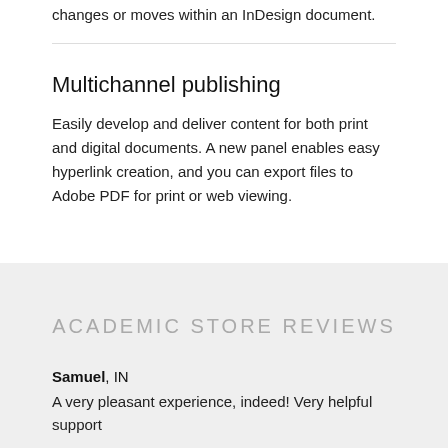changes or moves within an InDesign document.
Multichannel publishing
Easily develop and deliver content for both print and digital documents. A new panel enables easy hyperlink creation, and you can export files to Adobe PDF for print or web viewing.
ACADEMIC STORE REVIEWS
Samuel, IN
A very pleasant experience, indeed! Very helpful support